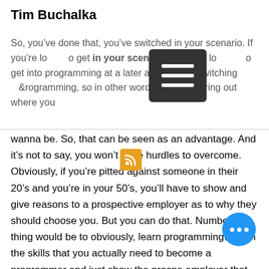Tim Buchalka
So, you’ve done that, you’ve switched in your scenario. If you’re looking to get into programming at a later age. You’re switching to programming, so in other words, you’re figuring out where you wanna be. So, that can be seen as an advantage. And it’s not to say, you won’t have hurdles to overcome. Obviously, if you’re pitted against someone in their 20’s and you’re in your 50’s, you’ll have to show and give reasons to a prospective employer as to why they should choose you. But you can do that. Number one thing would be to obviously, learn programming. Learn the skills that you actually need to become a programmer and just show the prospective employer that you know, you’re willing to work hard and persevere at it.